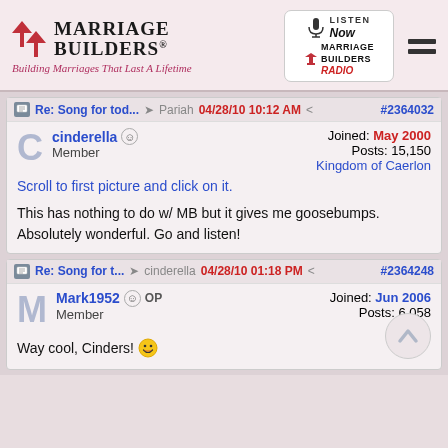[Figure (logo): Marriage Builders logo with arrows and tagline 'Building Marriages That Last A Lifetime', and Marriage Builders Radio box]
Re: Song for tod... Pariah 04/28/10 10:12 AM #2364032
cinderella Member | Joined: May 2000 | Posts: 15,150 | Kingdom of Caerlon
Scroll to first picture and click on it.
This has nothing to do w/ MB but it gives me goosebumps. Absolutely wonderful. Go and listen!
Re: Song for t... cinderella 04/28/10 01:18 PM #2364248
Mark1952 OP Member | Joined: Jun 2006 | Posts: 6,058
Way cool, Cinders!